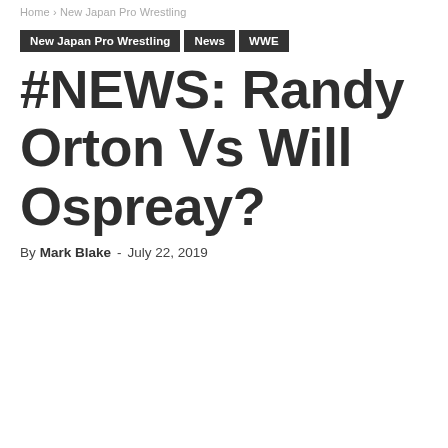Home › New Japan Pro Wrestling
New Japan Pro Wrestling | News | WWE
#NEWS: Randy Orton Vs Will Ospreay?
By Mark Blake - July 22, 2019